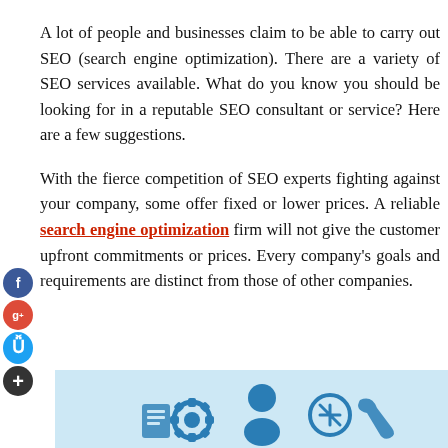A lot of people and businesses claim to be able to carry out SEO (search engine optimization). There are a variety of SEO services available. What do you know you should be looking for in a reputable SEO consultant or service? Here are a few suggestions.
With the fierce competition of SEO experts fighting against your company, some offer fixed or lower prices. A reliable search engine optimization firm will not give the customer upfront commitments or prices. Every company's goals and requirements are distinct from those of other companies.
[Figure (illustration): A light blue banner image showing SEO-related icons including gears, a person silhouette, and other digital marketing symbols.]